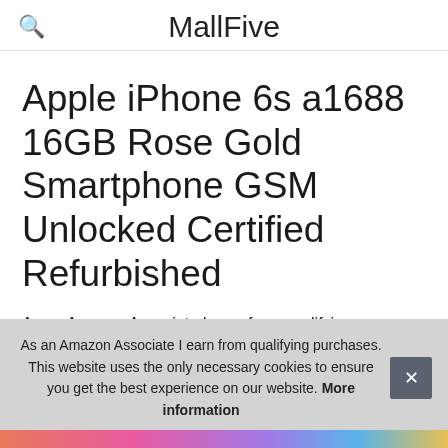MallFive
Apple iPhone 6s a1688 16GB Rose Gold Smartphone GSM Unlocked Certified Refurbished
As an Amazon Associate I earn from qualifying purchases.
As an Amazon Associate I earn from qualifying purchases. This website uses the only necessary cookies to ensure you get the best experience on our website. More information